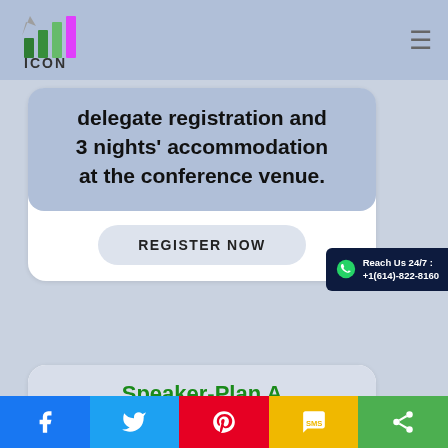[Figure (logo): ICON conference logo with colorful bar chart graphic and text ICON]
delegate registration and 3 nights' accommodation at the conference venue.
REGISTER NOW
Reach Us 24/7 : +1(614)-822-8160
Speaker-Plan A
Facebook | Twitter | Pinterest | SMS | Share